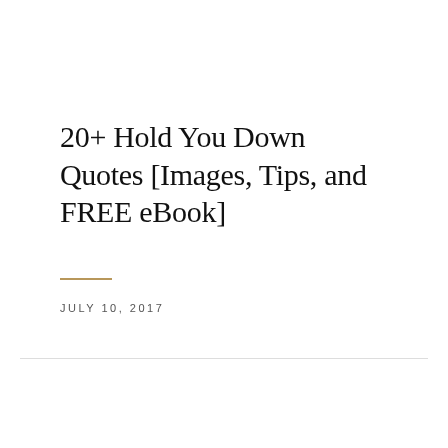20+ Hold You Down Quotes [Images, Tips, and FREE eBook]
JULY 10, 2017